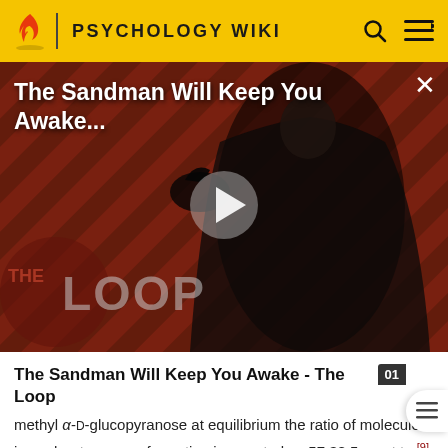PSYCHOLOGY WIKI
[Figure (screenshot): Video thumbnail for 'The Sandman Will Keep You Awake - The Loop' showing a dark-cloaked figure against a red diagonal-stripe background with THE LOOP logo and a play button overlay]
The Sandman Will Keep You Awake - The Loop
methyl α-D-glucopyranose at equilibrium the ratio of molecules in each rotamer conformation is reported as 57:38:5 gg:gt:tg.[9] This tendency for the ω-angle to